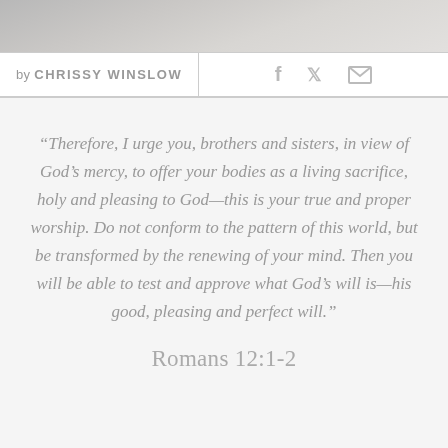[Figure (photo): Partial photo of a person, cropped at top of page, muted gray tones]
by CHRISSY WINSLOW
“Therefore, I urge you, brothers and sisters, in view of God’s mercy, to offer your bodies as a living sacrifice, holy and pleasing to God—this is your true and proper worship. Do not conform to the pattern of this world, but be transformed by the renewing of your mind. Then you will be able to test and approve what God’s will is—his good, pleasing and perfect will.”
Romans 12:1-2